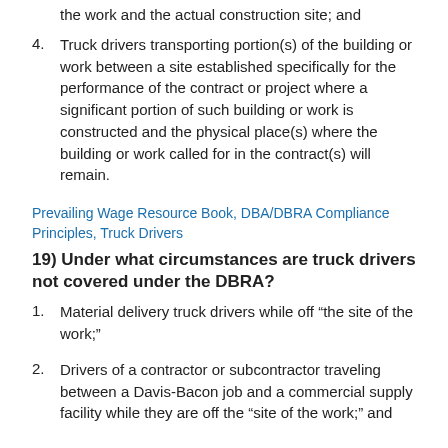the work and the actual construction site; and
4. Truck drivers transporting portion(s) of the building or work between a site established specifically for the performance of the contract or project where a significant portion of such building or work is constructed and the physical place(s) where the building or work called for in the contract(s) will remain.
Prevailing Wage Resource Book, DBA/DBRA Compliance Principles, Truck Drivers
19) Under what circumstances are truck drivers not covered under the DBRA?
1. Material delivery truck drivers while off “the site of the work;”
2. Drivers of a contractor or subcontractor traveling between a Davis-Bacon job and a commercial supply facility while they are off the “site of the work;” and